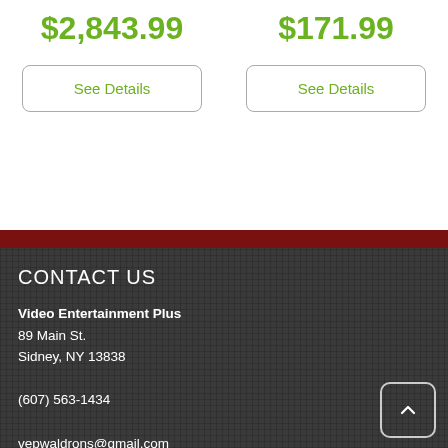$2,843.99
See Details
$171.99
See Details
CONTACT US
Video Entertainment Plus
89 Main St.
Sidney, NY 13838

(607) 563-1434

vepwaldrons@gmail.com
HOURS